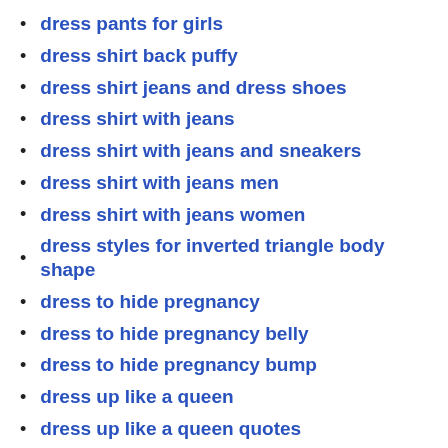dress pants for girls
dress shirt back puffy
dress shirt jeans and dress shoes
dress shirt with jeans
dress shirt with jeans and sneakers
dress shirt with jeans men
dress shirt with jeans women
dress styles for inverted triangle body shape
dress to hide pregnancy
dress to hide pregnancy belly
dress to hide pregnancy bump
dress up like a queen
dress up like a queen quotes
dress up like an artist
dress v neck shirt